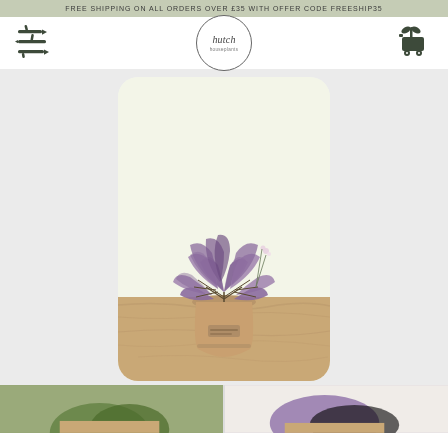FREE SHIPPING ON ALL ORDERS OVER £35 WITH OFFER CODE FREESHIP35
[Figure (logo): Hutch houseplants logo — circular badge with italic 'hutch' text and 'houseplants' subtitle, flanked by decorative branch menu icon on left and plant cart icon on right]
[Figure (photo): Potted Oxalis triangularis (purple shamrock) plant with distinctive purple butterfly-shaped leaves and small pink/white flowers, in a terracotta pot on a wooden surface, against a pale cream background, displayed in a rounded-corner card format]
[Figure (photo): Partial thumbnail row at bottom showing two small plant photos cropped]